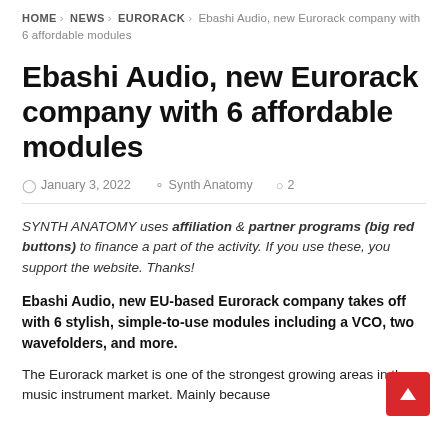HOME > NEWS > EURORACK > Ebashi Audio, new Eurorack company with 6 affordable modules
Ebashi Audio, new Eurorack company with 6 affordable modules
January 3, 2022  Synth Anatomy  2
SYNTH ANATOMY uses affiliation & partner programs (big red buttons) to finance a part of the activity. If you use these, you support the website. Thanks!
Ebashi Audio, new EU-based Eurorack company takes off with 6 stylish, simple-to-use modules including a VCO, two wavefolders, and more.
The Eurorack market is one of the strongest growing areas in the music instrument market. Mainly because